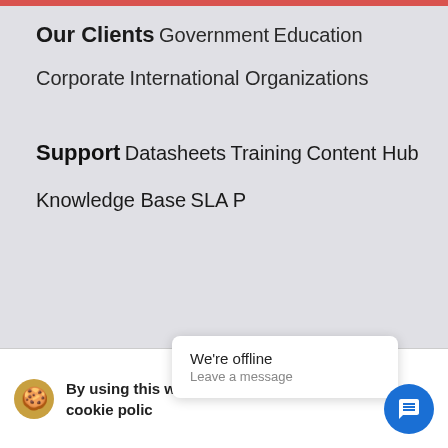Our Clients
Government
Education
Corporate
International Organizations
Support
Datasheets
Training
Content Hub
Knowledge Base
SLA P…
By using this website you agree to our cookie polic…
We're offline
Leave a message